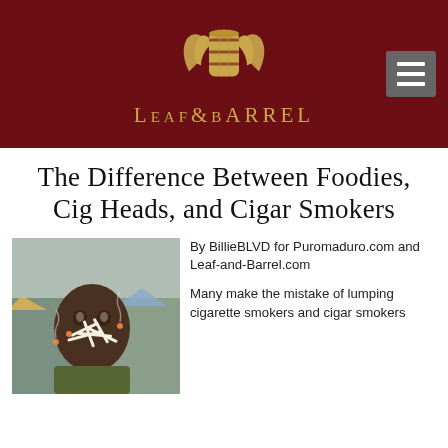Leaf & Barrel
The Difference Between Foodies, Cig Heads, and Cigar Smokers
[Figure (photo): A man with multiple cigarettes in his mouth and nose, outdoors at what appears to be a festival or event]
By BillieBLVD for Puromaduro.com and Leaf-and-Barrel.com
Many make the mistake of lumping cigarette smokers and cigar smokers